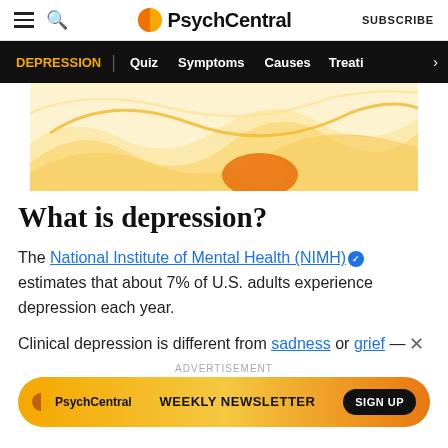PsychCentral | SUBSCRIBE
DEPRESSION | Quiz | Symptoms | Causes | Treati >
[Figure (illustration): Abstract wavy golden/yellow decorative illustration used as hero banner]
What is depression?
The National Institute of Mental Health (NIMH) estimates that about 7% of U.S. adults experience depression each year.
Clinical depression is different from sadness or grief —
ADVERTISEMENT
[Figure (screenshot): PsychCentral Weekly Newsletter advertisement banner with SIGN UP button]